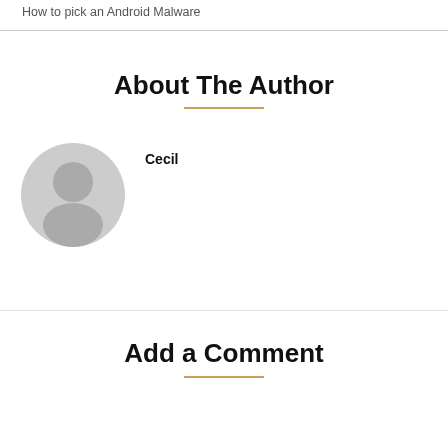How to pick an Android Malware
About The Author
[Figure (illustration): Default user avatar — circular grey silhouette of a person (head and shoulders)]
Cecil
Add a Comment